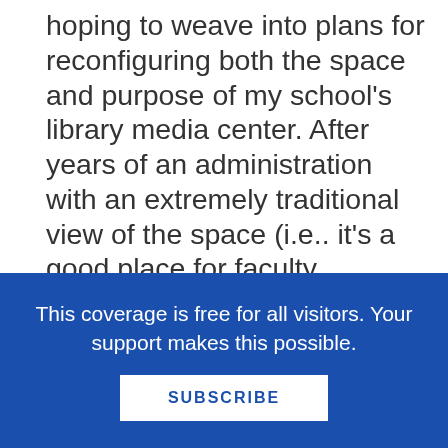hoping to weave into plans for reconfiguring both the space and purpose of my school's library media center. After years of an administration with an extremely traditional view of the space (i.e.. it's a good place for faculty meetings) we have been gifted with an administration that has expressed an interest in more forward thinking uses for the space. We also now have a half time Technology Facilitator who has moved into the media center space and already started to mix things up (with my encouragement and blessing.)
Currently, the school's library is set up to accommodate whole group teaching and learning. While I think that is still going to be a need on a
This coverage is free for all visitors. Your support makes this possible.
SUBSCRIBE